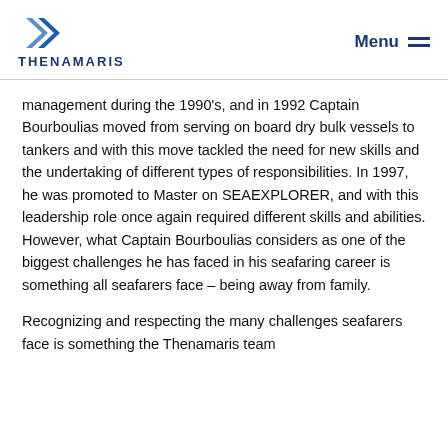THENAMARIS | Menu
management during the 1990's, and in 1992 Captain Bourboulias moved from serving on board dry bulk vessels to tankers and with this move tackled the need for new skills and the undertaking of different types of responsibilities. In 1997, he was promoted to Master on SEAEXPLORER, and with this leadership role once again required different skills and abilities. However, what Captain Bourboulias considers as one of the biggest challenges he has faced in his seafaring career is something all seafarers face – being away from family.
Recognizing and respecting the many challenges seafarers face is something the Thenamaris team